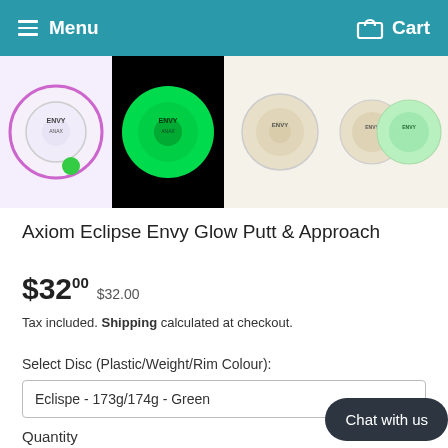Menu  Cart
[Figure (photo): Four disc golf discs: first is Axiom Eclipse Envy on white/pink background with green accent, second is glowing green Envy on black background, third is tan/beige Envy on white background, fourth is two Envy discs on beige background]
Axiom Eclipse Envy Glow Putt & Approach
$3200 $32.00
Tax included. Shipping calculated at checkout.
Select Disc (Plastic/Weight/Rim Colour):
Eclispe - 173g/174g - Green
Quantity
- 1 +
Chat with us